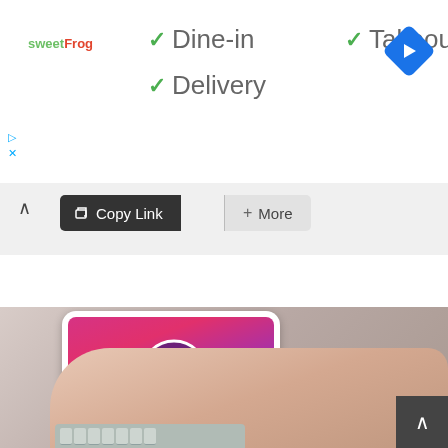[Figure (logo): sweetFrog frozen yogurt brand logo in green and red text]
✓ Dine-in
✓ Takeout
✓ Delivery
[Figure (logo): Google Maps navigation direction arrow icon (blue diamond with white arrow)]
[Figure (screenshot): Share toolbar UI showing Copy Link button and More button with + icon]
[Figure (photo): Hand holding a smartphone showing Instagram login screen with a video play button overlay]